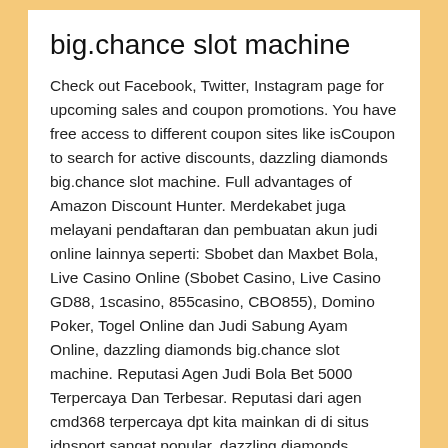big.chance slot machine
Check out Facebook, Twitter, Instagram page for upcoming sales and coupon promotions. You have free access to different coupon sites like isCoupon to search for active discounts, dazzling diamonds big.chance slot machine. Full advantages of Amazon Discount Hunter. Merdekabet juga melayani pendaftaran dan pembuatan akun judi online lainnya seperti: Sbobet dan Maxbet Bola, Live Casino Online (Sbobet Casino, Live Casino GD88, 1scasino, 855casino, CBO855), Domino Poker, Togel Online dan Judi Sabung Ayam Online, dazzling diamonds big.chance slot machine. Reputasi Agen Judi Bola Bet 5000 Terpercaya Dan Terbesar. Reputasi dari agen cmd368 terpercaya dpt kita mainkan di di situs idnsport sangat popular, dazzling diamonds big.chance